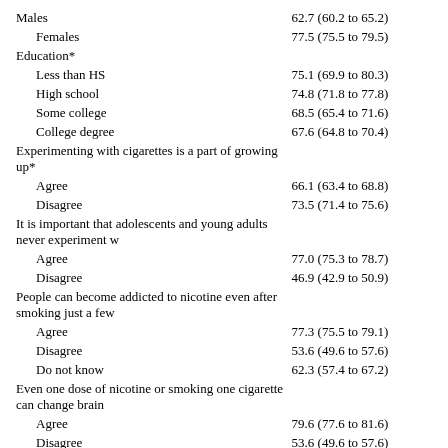| Category | Value (95% CI) |
| --- | --- |
| Males | 62.7 (60.2 to 65.2) |
| Females | 77.5 (75.5 to 79.5) |
| Education* |  |
| Less than HS | 75.1 (69.9 to 80.3) |
| High school | 74.8 (71.8 to 77.8) |
| Some college | 68.5 (65.4 to 71.6) |
| College degree | 67.6 (64.8 to 70.4) |
| Experimenting with cigarettes is a part of growing up* |  |
| Agree | 66.1 (63.4 to 68.8) |
| Disagree | 73.5 (71.4 to 75.6) |
| It is important that adolescents and young adults never experiment w... |  |
| Agree | 77.0 (75.3 to 78.7) |
| Disagree | 46.9 (42.9 to 50.9) |
| People can become addicted to nicotine even after smoking just a few... |  |
| Agree | 77.3 (75.5 to 79.1) |
| Disagree | 53.6 (49.6 to 57.6) |
| Do not know | 62.3 (57.4 to 67.2) |
| Even one dose of nicotine or smoking one cigarette can change brain... |  |
| Agree | 79.6 (77.6 to 81.6) |
| Disagree | 53.6 (49.6 to 57.6) |
| Do not know | 66.8 (63.3 to 70.3) |
*p<0.05, based on χ² analyses.